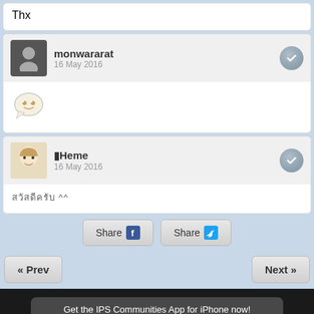Thx
monwararat
16 May 2016
[Figure (illustration): Emoji/sticker image]
□Heme
16 May 2016
□□□□□□□□□ ^^
[Figure (other): Share on Facebook and Share on Twitter buttons]
[Figure (other): Navigation buttons: « Prev and Next »]
Get the IPS Communities App for iPhone now!
Full Version   English
[Figure (logo): Histats.com logo with bar chart icon]